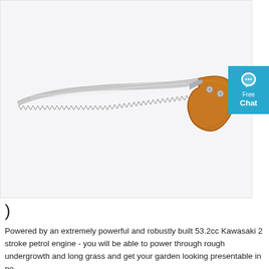[Figure (photo): A garden/pruning saw with a serrated silver metal blade and a curved wooden handle (light brown/orange wood) with two visible screws/bolts, set against a white/light grey background. A blue 'Free Chat' badge appears in the top right corner.]
)
Powered by an extremely powerful and robustly built 53.2cc Kawasaki 2 stroke petrol engine - you will be able to power through rough undergrowth and long grass and get your garden looking presentable in no